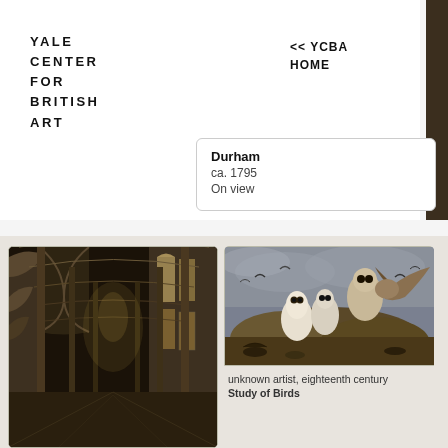YALE CENTER FOR BRITISH ART
<< YCBA HOME
Durham
ca. 1795
On view
[Figure (photo): Interior view of a Gothic cathedral with tall stone arches and stained glass windows]
[Figure (photo): Painting of owls and birds of prey perched on rocky ground with other birds in flight]
unknown artist, eighteenth century
Study of Birds